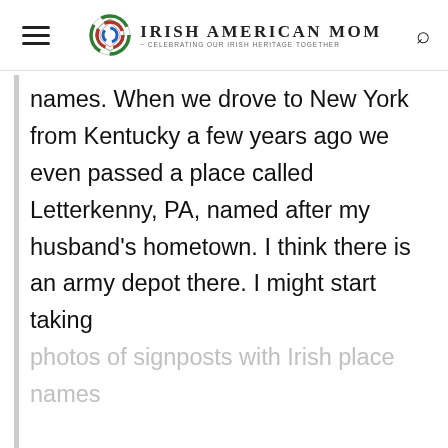Irish American Mom - Celebrating Our Irish Heritage Together
names. When we drove to New York from Kentucky a few years ago we even passed a place called Letterkenny, PA, named after my husband's hometown. I think there is an army depot there. I might start taking
photos of signposts with Irish place names